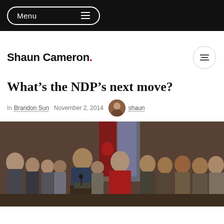Menu
Shaun Cameron.
What's the NDP's next move?
In Brandon Sun   November 2, 2014   shaun
[Figure (photo): Group of people standing at a press conference with a person in a red jacket in the center and Canadian flags in the background]